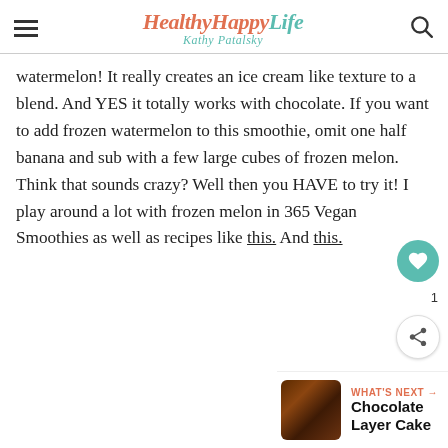HealthyHappyLife — Kathy Patalsky
Watermelon! It really creates an ice cream like texture to a blend. And YES it totally works with chocolate. If you want to add frozen watermelon to this smoothie, omit one half banana and sub with a few large cubes of frozen melon. Think that sounds crazy? Well then you HAVE to try it! I play around a lot with frozen melon in 365 Vegan Smoothies as well as recipes like this. And this. 1
[Figure (illustration): Circular teal heart/like button and share button overlay on right side of text]
[Figure (photo): Chocolate Layer Cake thumbnail image for What's Next section]
WHAT'S NEXT → Chocolate Layer Cake